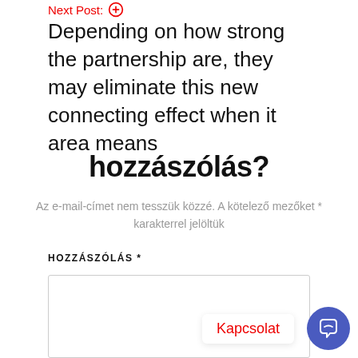Next Post: ⊕
Depending on how strong the partnership are, they may eliminate this new connecting effect when it area means
hozzászólás?
Az e-mail-címet nem tesszük közzé. A kötelező mezőket * karakterrel jelöltük
HOZZÁSZÓLÁS *
Kapcsolat